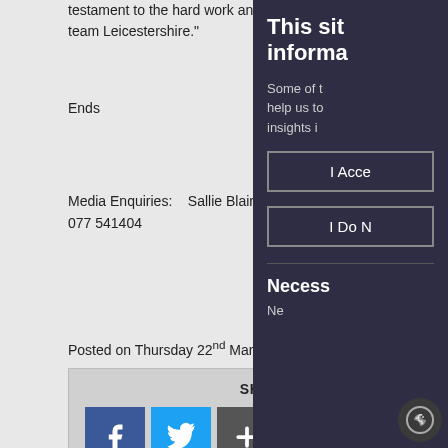testament to the hard work and commitment of team Leicestershire."
Ends
Media Enquiries:    Sallie Blair - 01283 821012 / 077 541404
Posted on Thursday 22nd March 2018
SHARE THIS
[Figure (other): Share this section with Facebook, Twitter, and AddThis social share buttons]
This site informa
Some of help us to insights i
I Acce
I Do N
Necess
Ne